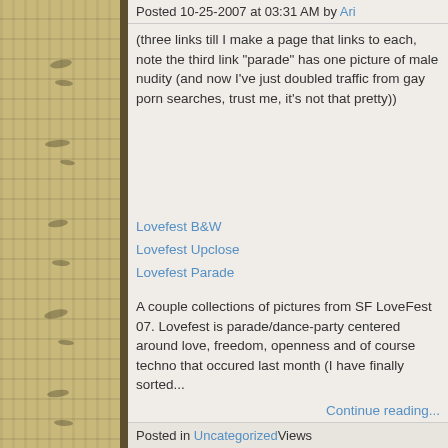Posted 10-25-2007 at 03:31 AM by Ari
(three links till I make a page that links to each, note the third link "parade" has one picture of male nudity (and now I've just doubled traffic from gay porn searches, trust me, it's not that pretty))
Lovefest B&W
Lovefest Upclose
Lovefest Parade
A couple collections of pictures from SF LoveFest 07. Lovefest is parade/dance-party centered around love, freedom, openness and of course techno that occured last month (I have finally sorted...
Continue reading...
Posted in Uncategorized Views